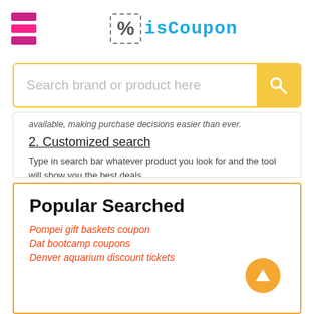isCoupon logo and hamburger menu
Search brand or product here
available, making purchase decisions easier than ever.
2. Customized search
Type in search bar whatever product you look for and the tool will show you the best deals
3. Time saving
Not much time wasted for the results. You are just a few clicks away from accurate options for your saving.
Popular Searched
Pompei gift baskets coupon
Dat bootcamp coupons
Denver aquarium discount tickets